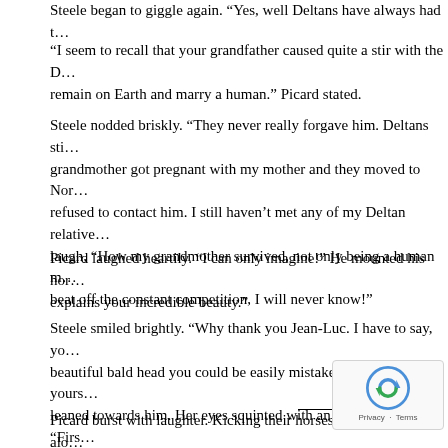Steele began to giggle again. “Yes, well Deltans have always had t…
“I seem to recall that your grandfather caused quite a stir with the D… remain on Earth and marry a human.” Picard stated.
Steele nodded briskly. “They never really forgave him. Deltans sti… grandmother got pregnant with my mother and they moved to Nor… refused to contact him. I still haven’t met any of my Deltan relative… laugh, “How my grandmother survived, not only being a human m… beat off the constant competition, I will never know!”
Picard laughed heartily. “I can only imagine!” He mounted his hor… explains your incredible beauty.”
Steele smiled brightly. “Why thank you Jean-Luc. I have to say, yo… beautiful bald head you could be easily mistaken for a Deltan yours… leaned towards him. Her eyes squinted with an impish glare. “Firs…
Picard burst with laughter. Kicking their horses, they rode hard alo… river.